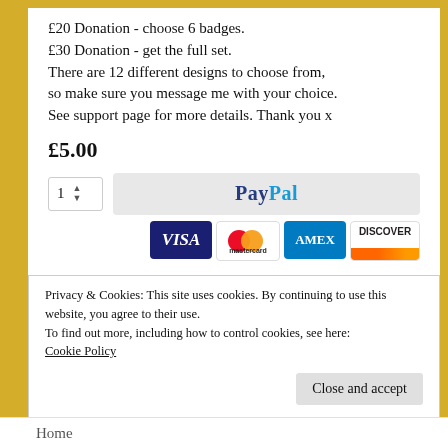£20 Donation - choose 6 badges.
£30 Donation - get the full set.
There are 12 different designs to choose from, so make sure you message me with your choice. See support page for more details. Thank you x
£5.00
[Figure (other): Quantity selector showing '1' with up/down arrows, and a PayPal checkout button beside it. Below are payment card logos: VISA, Mastercard, AMEX, DISCOVER.]
Privacy & Cookies: This site uses cookies. By continuing to use this website, you agree to their use.
To find out more, including how to control cookies, see here:
Cookie Policy
Close and accept
Home